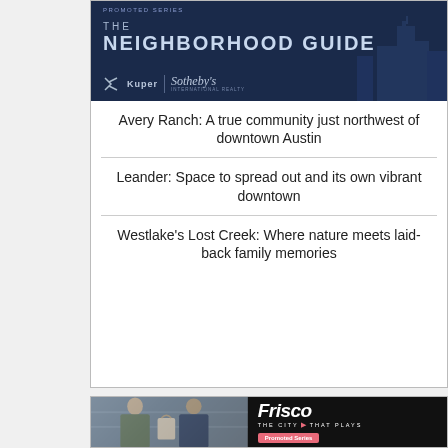[Figure (illustration): The Neighborhood Guide banner with Kuper Sotheby's International Realty branding on dark navy background with city building silhouettes]
Avery Ranch: A true community just northwest of downtown Austin
Leander: Space to spread out and its own vibrant downtown
Westlake's Lost Creek: Where nature meets laid-back family memories
[Figure (illustration): Frisco - The City That Plays promotional banner showing two women in an art studio with Frisco branding and Promoted Series badge]